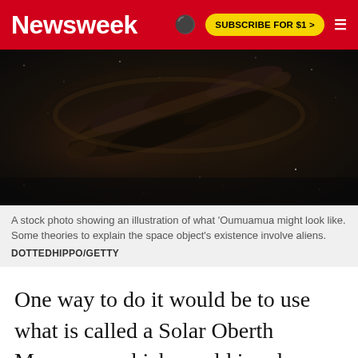Newsweek | SUBSCRIBE FOR $1 >
[Figure (photo): Illustration of the interstellar object 'Oumuamua in deep space — a dark elongated rocky object against a starfield background]
A stock photo showing an illustration of what 'Oumuamua might look like. Some theories to explain the space object's existence involve aliens.
DOTTEDHIPPO/GETTY
One way to do it would be to use what is called a Solar Oberth Maneuver, which would involve sling-shotting a spacecraft around the sun in order to speed up and catch 'Oumuamua in a couple of decades—but it carries risks, and the